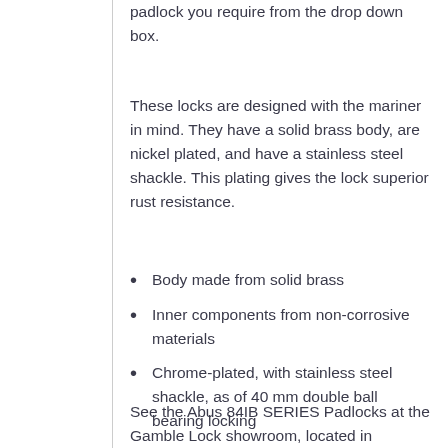padlock you require from the drop down box.
These locks are designed with the mariner in mind. They have a solid brass body, are nickel plated, and have a stainless steel shackle. This plating gives the lock superior rust resistance.
Body made from solid brass
Inner components from non-corrosive materials
Chrome-plated, with stainless steel shackle, as of 40 mm double ball bearing locking
ABUS precision pin tumbler cylinder
See the Abus 84IB SERIES Padlocks at the Gamble Lock showroom, located in